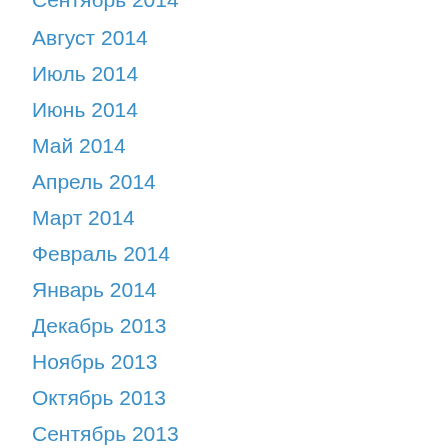Сентябрь 2014
Август 2014
Июль 2014
Июнь 2014
Май 2014
Апрель 2014
Март 2014
Февраль 2014
Январь 2014
Декабрь 2013
Ноябрь 2013
Октябрь 2013
Сентябрь 2013
Август 2013